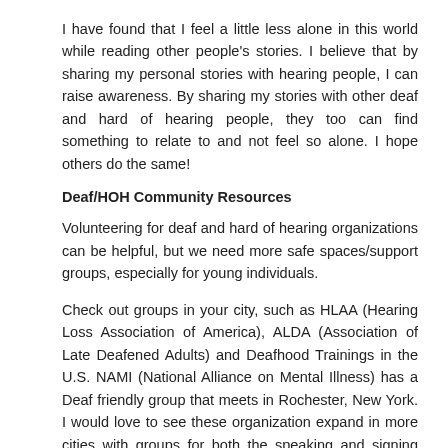I have found that I feel a little less alone in this world while reading other people's stories. I believe that by sharing my personal stories with hearing people, I can raise awareness. By sharing my stories with other deaf and hard of hearing people, they too can find something to relate to and not feel so alone. I hope others do the same!
Deaf/HOH Community Resources
Volunteering for deaf and hard of hearing organizations can be helpful, but we need more safe spaces/support groups, especially for young individuals.
Check out groups in your city, such as HLAA (Hearing Loss Association of America), ALDA (Association of Late Deafened Adults) and Deafhood Trainings in the U.S. NAMI (National Alliance on Mental Illness) has a Deaf friendly group that meets in Rochester, New York. I would love to see these organization expand in more cities with groups for both the speaking and signing communities. I'm looking forward to having more places where people can go to reach out for support so we build one another up.
As Helen Keller famously said, "Alone we can do so little; together